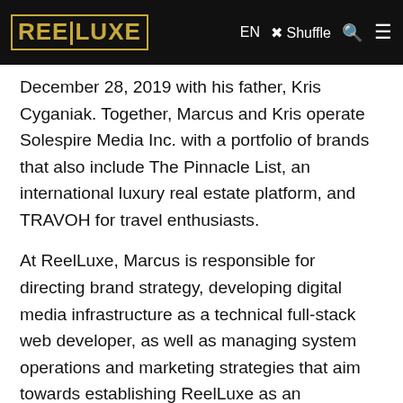REELUXE | EN | Shuffle | [search] | [menu]
December 28, 2019 with his father, Kris Cyganiak. Together, Marcus and Kris operate Solespire Media Inc. with a portfolio of brands that also include The Pinnacle List, an international luxury real estate platform, and TRAVOH for travel enthusiasts.
At ReelLuxe, Marcus is responsible for directing brand strategy, developing digital media infrastructure as a technical full-stack web developer, as well as managing system operations and marketing strategies that aim towards establishing ReelLuxe as an authoritative voice, recognized globally for defining the culture of luxury.
At Solespire, Marcus serves as President, with